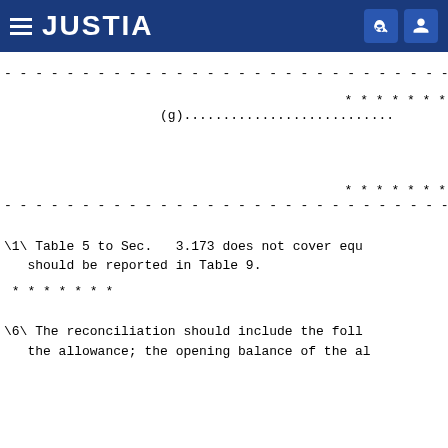JUSTIA
-----------------------------------------------
* * * * * * *
(g)......................
* * * * * * *
-----------------------------------------------
\1\ Table 5 to Sec.   3.173 does not cover equ  should be reported in Table 9.
* * * * * * *
\6\ The reconciliation should include the foll  the allowance; the opening balance of the al